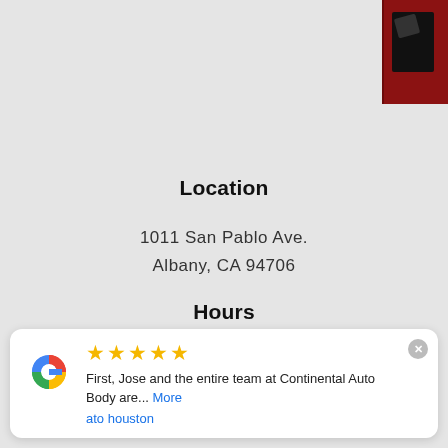[Figure (photo): Dark red/black logo image in the top right corner]
Location
1011 San Pablo Ave.
Albany, CA 94706
Hours
8:00am - 5:00pm
Monday - Friday
Contact & Follow
First, Jose and the entire team at Continental Auto Body are... More
ato houston